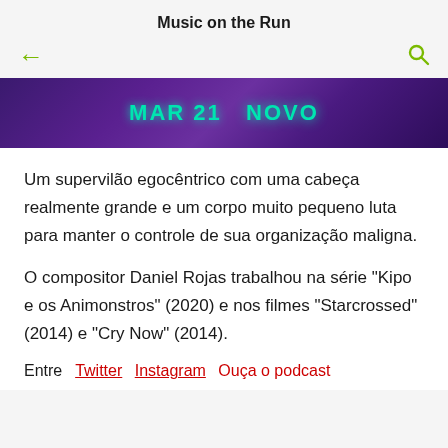Music on the Run
[Figure (screenshot): Dark purple/violet banner image with teal/green glowing text partially visible, appears to be a promotional banner for a show or movie.]
Um supervilão egocêntrico com uma cabeça realmente grande e um corpo muito pequeno luta para manter o controle de sua organização maligna.
O compositor Daniel Rojas trabalhou na série "Kipo e os Animonstros" (2020) e nos filmes "Starcrossed" (2014) e "Cry Now" (2014).
Entre    Twitter    Instagram  Ouça o podcast